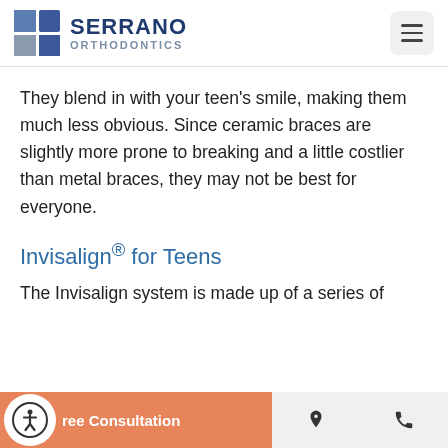[Figure (logo): Serrano Orthodontics logo with blue grid squares and text]
They blend in with your teen's smile, making them much less obvious. Since ceramic braces are slightly more prone to breaking and a little costlier than metal braces, they may not be best for everyone.
Invisalign® for Teens
The Invisalign system is made up of a series of
[Figure (infographic): Bottom navigation bar with accessibility icon, Free Consultation button, location pin, and phone icon]